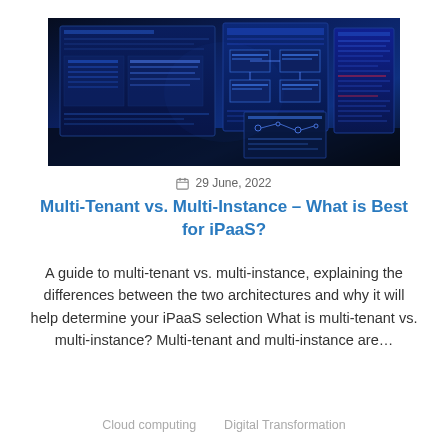[Figure (photo): Multiple computer monitors displaying blue-tinted interface screens with data dashboards, code, and diagrams in a dark environment]
29 June, 2022
Multi-Tenant vs. Multi-Instance – What is Best for iPaaS?
A guide to multi-tenant vs. multi-instance, explaining the differences between the two architectures and why it will help determine your iPaaS selection What is multi-tenant vs. multi-instance? Multi-tenant and multi-instance are…
Cloud computing    Digital Transformation